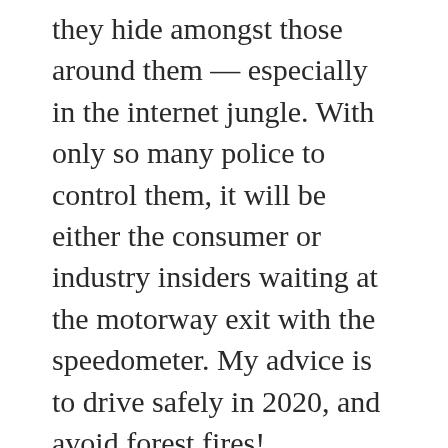they hide amongst those around them — especially in the internet jungle. With only so many police to control them, it will be either the consumer or industry insiders waiting at the motorway exit with the speedometer. My advice is to drive safely in 2020, and avoid forest fires!
As consumers ourselves, our industry's responsibility is therefore a big one in relation to effectively communicating truthful, believable cosmetic claims. We need to be ahead of the curve and